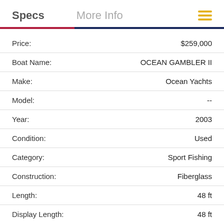Specs   More Info
| Field | Value |
| --- | --- |
| Price: | $259,000 |
| Boat Name: | OCEAN GAMBLER II |
| Make: | Ocean Yachts |
| Model: | -- |
| Year: | 2003 |
| Condition: | Used |
| Category: | Sport Fishing |
| Construction: | Fiberglass |
| Length: | 48 ft |
| Display Length: | 48 ft |